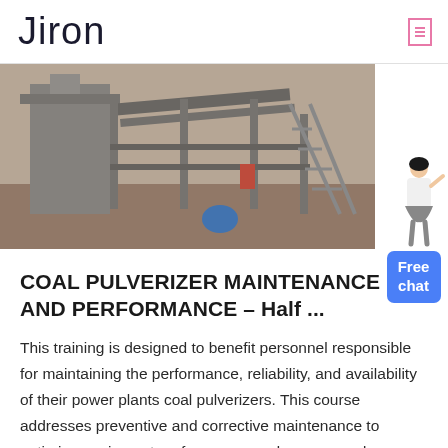Jiron
[Figure (photo): Industrial coal pulverizer / mining equipment photograph showing heavy machinery with structural supports and dust]
COAL PULVERIZER MAINTENANCE AND PERFORMANCE – Half ...
This training is designed to benefit personnel responsible for maintaining the performance, reliability, and availability of their power plants coal pulverizers. This course addresses preventive and corrective maintenance to optimize equipment performance, and recommends procedures and practice before, during, and after mill